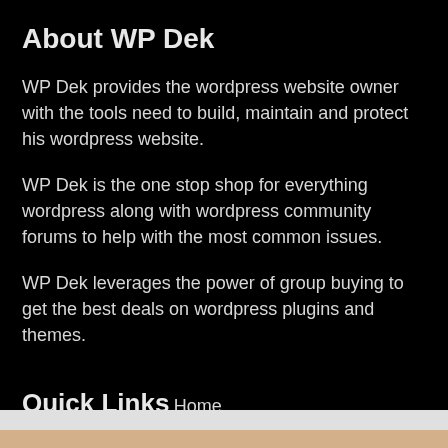About WP Dek
WP Dek provides the wordpress website owner with the tools need to build, maintain and protect his wordpress website.
WP Dek is the one stop shop for everything wordpress along with wordpress community forums to help with the most common issues.
WP Dek leverages the power of group buying to get the best deals on wordpress plugins and themes.
Quick Links
Home